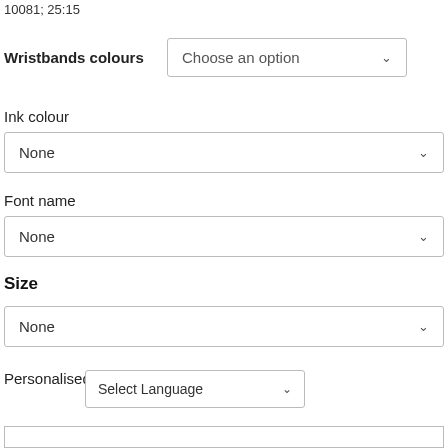10081; 25:15
Wristbands colours
Choose an option
Ink colour
None
Font name
None
Size
None
Personalised details
Select Language